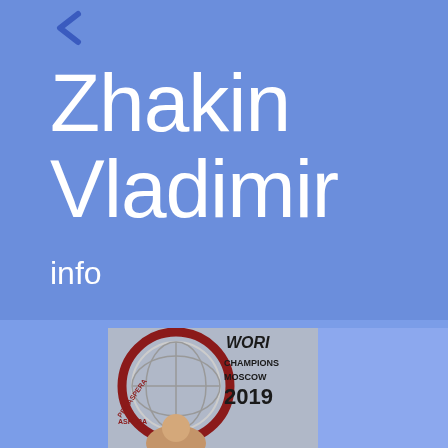[Figure (other): Back navigation arrow icon in dark blue]
Zhakin Vladimir
info
[Figure (photo): Photo of Vladimir Zhakin at World Championship Moscow 2019 event, showing a championship banner/badge with red and white circular design and text 'WORLD CHAMPIONSHIP MOSCOW 2019', with a person visible below]